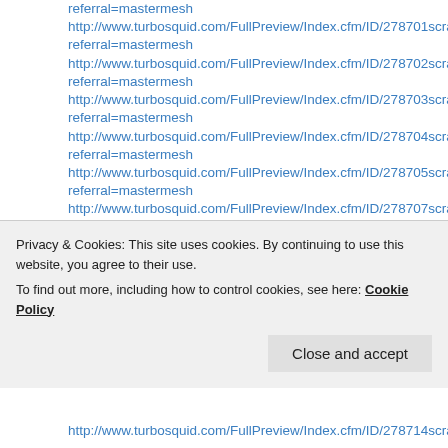referral=mastermesh
http://www.turbosquid.com/FullPreview/Index.cfm/ID/278701scrapes referral=mastermesh
http://www.turbosquid.com/FullPreview/Index.cfm/ID/278702scrapes referral=mastermesh
http://www.turbosquid.com/FullPreview/Index.cfm/ID/278703scrapes referral=mastermesh
http://www.turbosquid.com/FullPreview/Index.cfm/ID/278704scrapes referral=mastermesh
http://www.turbosquid.com/FullPreview/Index.cfm/ID/278705scrapes referral=mastermesh
http://www.turbosquid.com/FullPreview/Index.cfm/ID/278707scrapes referral=mastermesh
http://www.turbosquid.com/FullPreview/Index.cfm/ID/278709scrapes referral=mastermesh
Privacy & Cookies: This site uses cookies. By continuing to use this website, you agree to their use. To find out more, including how to control cookies, see here: Cookie Policy
http://www.turbosquid.com/FullPreview/Index.cfm/ID/278714scrapes